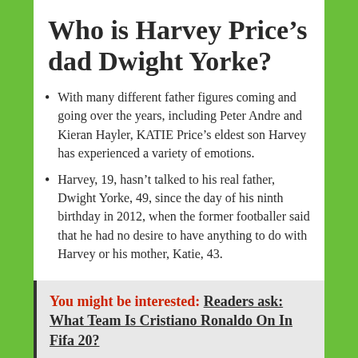Who is Harvey Price’s dad Dwight Yorke?
With many different father figures coming and going over the years, including Peter Andre and Kieran Hayler, KATIE Price’s eldest son Harvey has experienced a variety of emotions.
Harvey, 19, hasn’t talked to his real father, Dwight Yorke, 49, since the day of his ninth birthday in 2012, when the former footballer said that he had no desire to have anything to do with Harvey or his mother, Katie, 43.
You might be interested: Readers ask: What Team Is Cristiano Ronaldo On In Fifa 20?